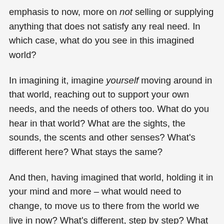emphasis to now, more on not selling or supplying anything that does not satisfy any real need. In which case, what do you see in this imagined world?
In imagining it, imagine yourself moving around in that world, reaching out to support your own needs, and the needs of others too. What do you hear in that world? What are the sights, the sounds, the scents and other senses? What's different here? What stays the same?
And then, having imagined that world, holding it in your mind and more – what would need to change, to move us to there from the world we live in now? What's different, step by step? What are